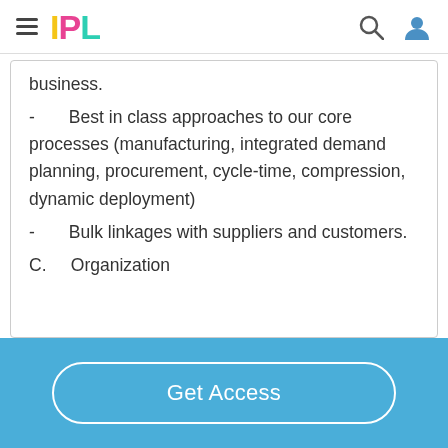IPL
business.
- Best in class approaches to our core processes (manufacturing, integrated demand planning, procurement, cycle-time, compression, dynamic deployment)
- Bulk linkages with suppliers and customers.
C. Organization
Get Access